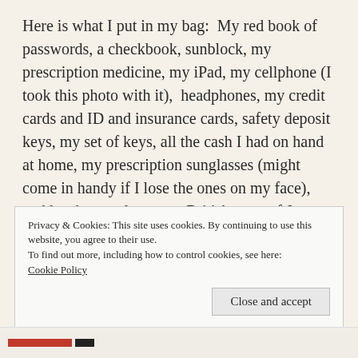Here is what I put in my bag:  My red book of passwords, a checkbook, sunblock, my prescription medicine, my iPad, my cellphone (I took this photo with it),  headphones, my credit cards and ID and insurance cards, safety deposit keys, my set of keys, all the cash I had on hand at home, my prescription sunglasses (might come in handy if I lose the ones on my face), and last but not least, my British copy of Jane Eyre.
Privacy & Cookies: This site uses cookies. By continuing to use this website, you agree to their use.
To find out more, including how to control cookies, see here:
Cookie Policy
Close and accept